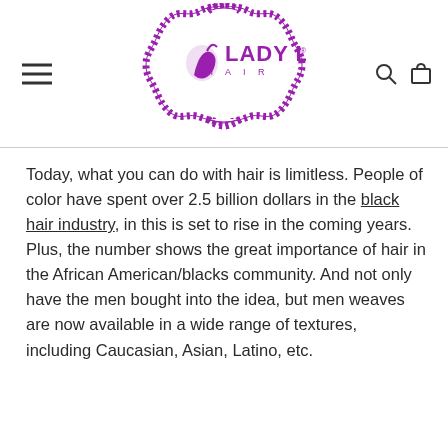[Figure (logo): Lady Lux Hair logo — purple ornate badge/frame with dotted border containing the text 'LADY LUX HAIR' with a stylized face icon]
Today, what you can do with hair is limitless. People of color have spent over 2.5 billion dollars in the black hair industry, in this is set to rise in the coming years. Plus, the number shows the great importance of hair in the African American/blacks community. And not only have the men bought into the idea, but men weaves are now available in a wide range of textures, including Caucasian, Asian, Latino, etc.